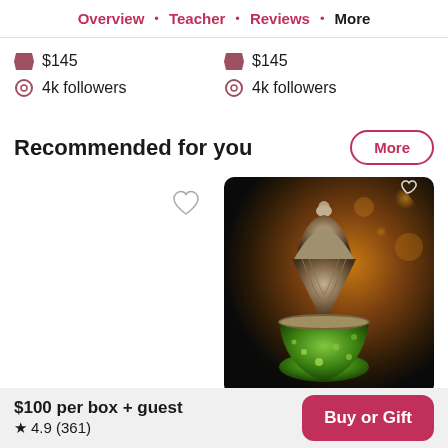Overview · Teacher · Reviews · More
$145  |  4k followers  (left column)
$145  |  4k followers  (right column)
Recommended for you
[Figure (photo): A decorative Moroccan/Turkish mosaic lamp with green glass and ornate metalwork top, photographed with warm bokeh background.]
$100 per box + guest
★ 4.9 (361)